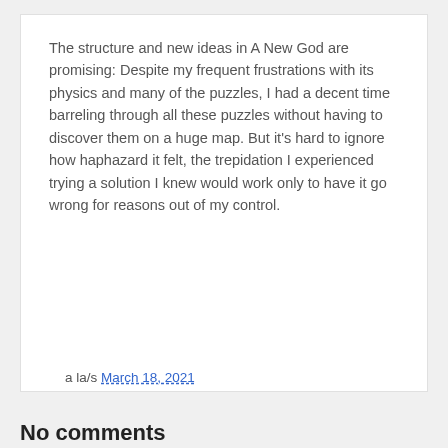The structure and new ideas in A New God are promising: Despite my frequent frustrations with its physics and many of the puzzles, I had a decent time barreling through all these puzzles without having to discover them on a huge map. But it's hard to ignore how haphazard it felt, the trepidation I experienced trying a solution I knew would work only to have it go wrong for reasons out of my control.
Source Link
a la/s March 18, 2021
Share
No comments